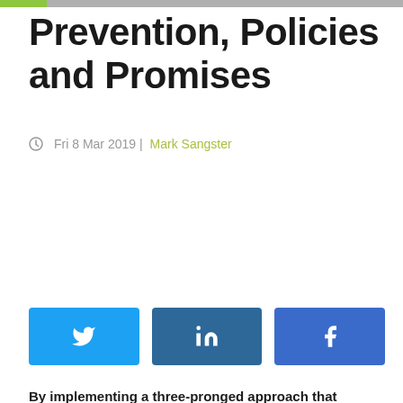Prevention, Policies and Promises
Fri 8 Mar 2019 | Mark Sangster
[Figure (infographic): Three social media share buttons: Twitter (light blue), LinkedIn (dark blue), Facebook (medium blue), each with their respective icons]
By implementing a three-pronged approach that